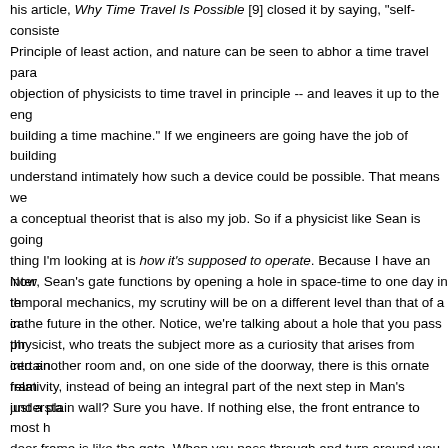his article, Why Time Travel Is Possible [9] closed it by saying, "self-consiste... Principle of least action, and nature can be seen to abhor a time travel para... objection of physicists to time travel in principle -- and leaves it up to the eng... building a time machine." If we engineers are going have the job of building... understand intimately how such a device could be possible. That means we... a conceptual theorist that is also my job. So if a physicist like Sean is going... thing I'm looking at is how it's supposed to operate. Because I have an inter... temporal mechanics, my scrutiny will be on a different level than that of a ca... physicist, who treats the subject more as a curiosity that arises from certain... relativity, instead of being an integral part of the next step in Man's understa...
Now, Sean's gate functions by opening a hole in space-time to one day in th... in the future in the other. Notice, we're talking about a hole that you pass thr... into another room and, on one side of the doorway, there is this ornate fram... just a plain wall? Sure you have. If nothing else, the front entrance to most h... door frame is like the gate. When you pass through and turn around you wo... wouldn't exist in that space-time of the day before it was created, but the op... situation also reveals something else—that we're talking about parallel univ... Because if the gate opens up to the day before it was created and yet it didn...